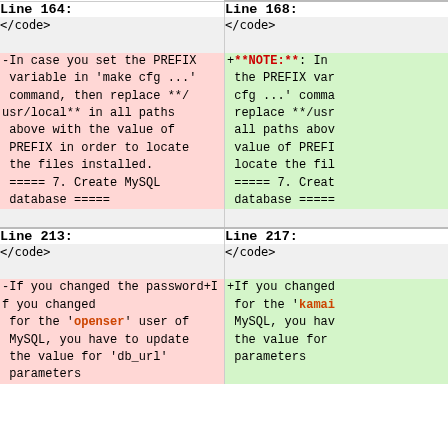| Line 164: | Line 168: |
| --- | --- |
| </code> | </code> |
| -In case you set the PREFIX variable in 'make cfg ...' command, then replace **/usr/local** in all paths above with the value of PREFIX in order to locate the files installed.
===== 7. Create MySQL database ===== | +**NOTE:**: In the PREFIX var cfg ...' comma replace **/usr all paths abov value of PREFI locate the fil
===== 7. Creat database ===== |
| Line 213: | Line 217: |
| --- | --- |
| </code> | </code> |
| -If you changed the password for the 'openser' user of MySQL, you have to update the value for 'db_url' parameters | +If you changed for the 'kamai MySQL, you hav the value for parameters |